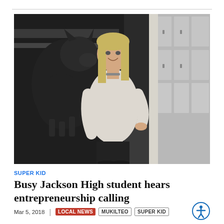[Figure (photo): A smiling teenage girl with blonde hair wearing a light cream/white sweater stands in a school hallway leaning against lockers. Behind her is a large mural of a running wolf on a dark wall.]
SUPER KID
Busy Jackson High student hears entrepreneurship calling
Mar 5, 2018  |  LOCAL NEWS  MUKILTEO  SUPER KID